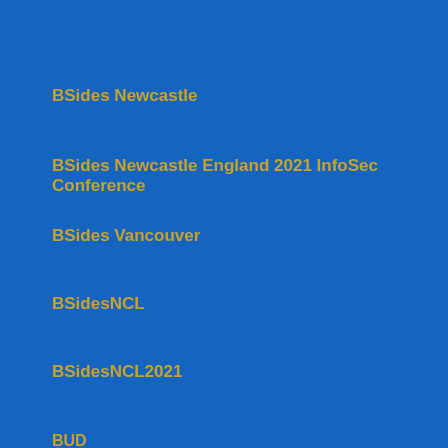BSides Newcastle
BSides Newcastle England 2021 InfoSec Conference
BSides Vancouver
BSidesNCL
BSidesNCL2021
BUD
Budapest
Building High Performance Teams
Business